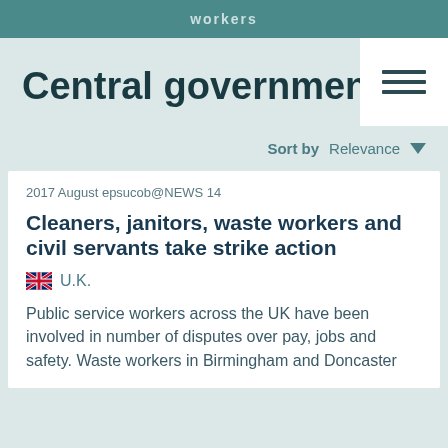workers
Central government
Sort by  Relevance ▼
2017 August epsucob@NEWS 14
Cleaners, janitors, waste workers and civil servants take strike action
🇬🇧 U.K.
Public service workers across the UK have been involved in number of disputes over pay, jobs and safety. Waste workers in Birmingham and Doncaster